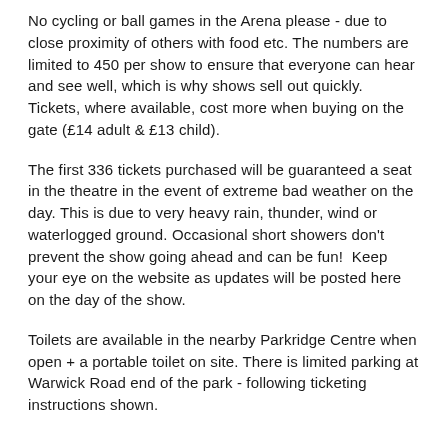No cycling or ball games in the Arena please - due to close proximity of others with food etc. The numbers are limited to 450 per show to ensure that everyone can hear and see well, which is why shows sell out quickly.  Tickets, where available, cost more when buying on the gate (£14 adult & £13 child).
The first 336 tickets purchased will be guaranteed a seat in the theatre in the event of extreme bad weather on the day. This is due to very heavy rain, thunder, wind or waterlogged ground. Occasional short showers don't prevent the show going ahead and can be fun!  Keep your eye on the website as updates will be posted here on the day of the show.
Toilets are available in the nearby Parkridge Centre when open + a portable toilet on site. There is limited parking at Warwick Road end of the park - following ticketing instructions shown.